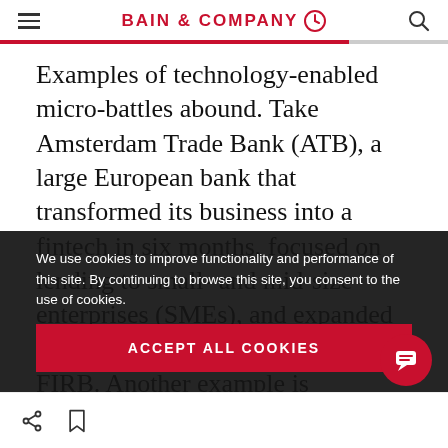BAIN & COMPANY
Examples of technology-enabled micro-battles abound. Take Amsterdam Trade Bank (ATB), a large European bank that transformed its business into a fintech in six months, focused on lending to small- and mid-size enterprises (SMEs), and expanded to the UK under the new brand FIRB. Another example is BancoEstado
We use cookies to improve functionality and performance of this site. By continuing to browse this site, you consent to the use of cookies.
ACCEPT ALL COOKIES